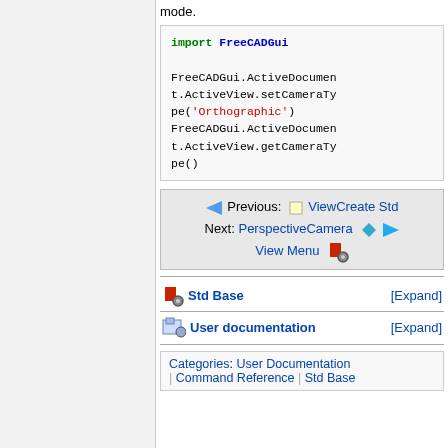mode.
import FreeCADGui

FreeCADGui.ActiveDocument.ActiveView.setCameraType('Orthographic')
FreeCADGui.ActiveDocument.ActiveView.getCameraType()
[Figure (other): Navigation box: Previous: ViewCreate Std, Next: PerspectiveCamera, View Menu with icons]
[Figure (other): Std Base [Expand] bar with FreeCAD icon]
[Figure (other): User documentation [Expand] bar with icon]
Categories: User Documentation | Command Reference | Std Base